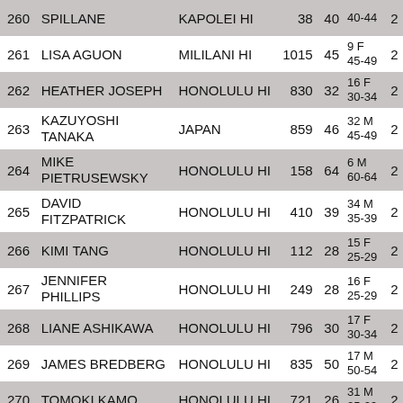| # | Name | City | Bib | Age | Division Place |  |
| --- | --- | --- | --- | --- | --- | --- |
| 260 | SPILLANE | KAPOLEI HI | 38 | 40 | 40-44 | 2 |
| 261 | LISA AGUON | MILILANI HI | 1015 | 45 | 9 F
45-49 | 2 |
| 262 | HEATHER JOSEPH | HONOLULU HI | 830 | 32 | 16 F
30-34 | 2 |
| 263 | KAZUYOSHI TANAKA | JAPAN | 859 | 46 | 32 M
45-49 | 2 |
| 264 | MIKE PIETRUSEWSKY | HONOLULU HI | 158 | 64 | 6 M
60-64 | 2 |
| 265 | DAVID FITZPATRICK | HONOLULU HI | 410 | 39 | 34 M
35-39 | 2 |
| 266 | KIMI TANG | HONOLULU HI | 112 | 28 | 15 F
25-29 | 2 |
| 267 | JENNIFER PHILLIPS | HONOLULU HI | 249 | 28 | 16 F
25-29 | 2 |
| 268 | LIANE ASHIKAWA | HONOLULU HI | 796 | 30 | 17 F
30-34 | 2 |
| 269 | JAMES BREDBERG | HONOLULU HI | 835 | 50 | 17 M
50-54 | 2 |
| 270 | TOMOKI KAMO | HONOLULU HI | 721 | 26 | 31 M
25-29 | 2 |
| 271 | JEFF HEALY | KAPOLEI HI | 793 | 44 | 30 M
40-44 | 2 |
| 272 |  |  |  |  | 18 M |  |